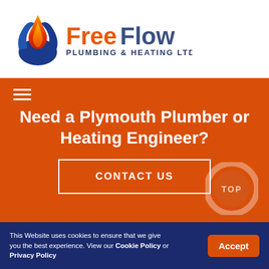[Figure (logo): FreeFlow Plumbing & Heating Ltd logo with flame/water droplet icon and orange-blue gradient wordmark]
[Figure (infographic): Orange hero section with hamburger menu icon, headline 'Need a Plymouth Plumber or Heating Engineer?', CONTACT US button, and circular TOP button]
This Website uses cookies to ensure that we give you the best experience. View our Cookie Policy or Privacy Policy
Accept